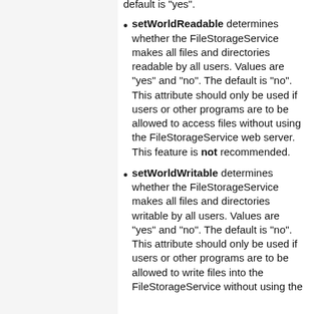default is "yes".
setWorldReadable determines whether the FileStorageService makes all files and directories readable by all users. Values are "yes" and "no". The default is "no". This attribute should only be used if users or other programs are to be allowed to access files without using the FileStorageService web server. This feature is not recommended.
setWorldWritable determines whether the FileStorageService makes all files and directories writable by all users. Values are "yes" and "no". The default is "no". This attribute should only be used if users or other programs are to be allowed to write files into the FileStorageService without using the